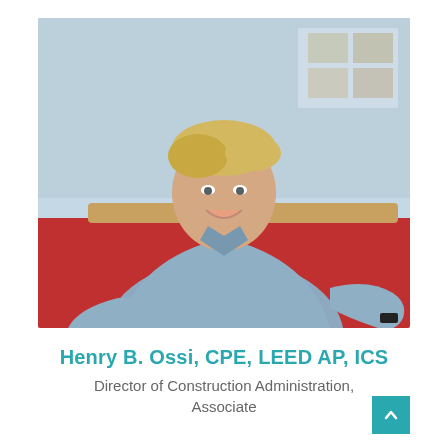[Figure (photo): Professional headshot of Henry B. Ossi, a middle-aged man with blonde hair, smiling, wearing a blue patterned button-up shirt, leaning on a red partition in an office environment.]
Henry B. Ossi, CPE, LEED AP, ICS
Director of Construction Administration, Associate